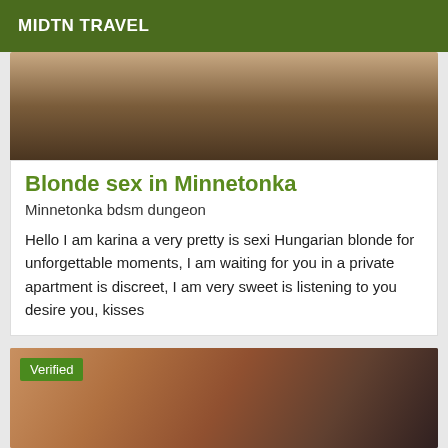MIDTN TRAVEL
[Figure (photo): Top portion of a photo, warm brown/tan tones, partial body image]
Blonde sex in Minnetonka
Minnetonka bdsm dungeon
Hello I am karina a very pretty is sexi Hungarian blonde for unforgettable moments, I am waiting for you in a private apartment is discreet, I am very sweet is listening to you desire you, kisses
[Figure (photo): Photo with Verified badge overlay, warm skin tones, partial body image with lingerie]